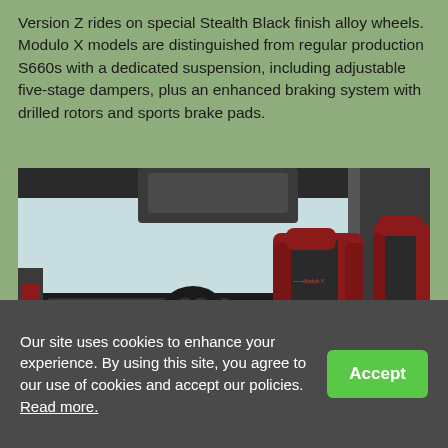Version Z rides on special Stealth Black finish alloy wheels. Modulo X models are distinguished from regular production S660s with a dedicated suspension, including adjustable five-stage dampers, plus an enhanced braking system with drilled rotors and sports brake pads.
[Figure (photo): Interior view of a Honda S660 Modulo X showing red and black leather sport seats, black dashboard with carbon-fiber trim, steering wheel, and open-top convertible structure.]
Our site uses cookies to enhance your experience. By using this site, you agree to our use of cookies and accept our policies. Read more.